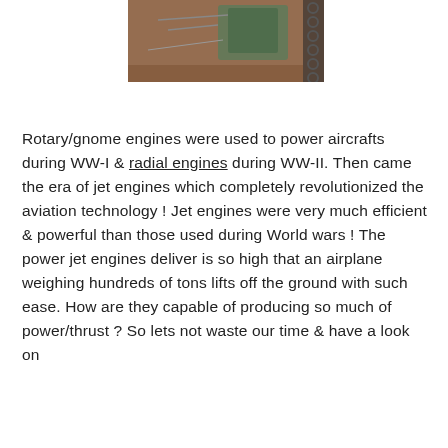[Figure (photo): A photograph showing mechanical/engine components on a reddish-brown surface, with greenish machinery visible in the background and chain links on the right edge.]
Rotary/gnome engines were used to power aircrafts during WW-I & radial engines during WW-II. Then came the era of jet engines which completely revolutionized the aviation technology ! Jet engines were very much efficient & powerful than those used during World wars ! The power jet engines deliver is so high that an airplane weighing hundreds of tons lifts off the ground with such ease. How are they capable of producing so much of power/thrust ? So lets not waste our time & have a look on